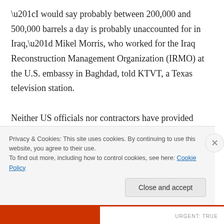“I would say probably between 200,000 and 500,000 barrels a day is probably unaccounted for in Iraq,” Mikel Morris, who worked for the Iraq Reconstruction Management Organization (IRMO) at the U.S. embassy in Baghdad, told KTVT, a Texas television station.
Neither US officials nor contractors have provided good reasons why, four years into the US occupation, the meters have not been calibrated, repaired, or replaced. One excuse is
Privacy & Cookies: This site uses cookies. By continuing to use this website, you agree to their use.
To find out more, including how to control cookies, see here: Cookie Policy
Close and accept